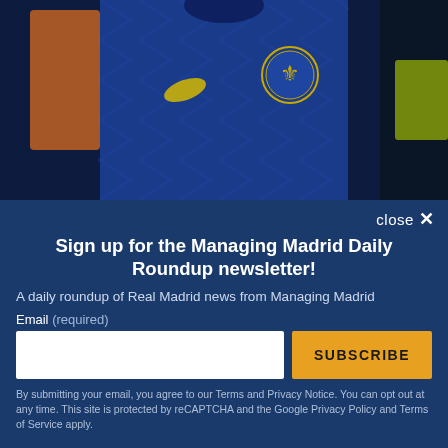[Figure (photo): Close-up photo of a player wearing a Chelsea FC blue Nike kit with the Chelsea lion badge visible on the chest. The player appears to be wearing a dark blue jersey with zigzag pattern. A yellow/green high-visibility vest is visible in the background.]
Manchester United, Real Madrid and PSG are pushing to sign Rüdiger as a free agent. In these three...
close ×
Sign up for the Managing Madrid Daily Roundup newsletter!
A daily roundup of Real Madrid news from Managing Madrid
Email (required)
SUBSCRIBE
By submitting your email, you agree to our Terms and Privacy Notice. You can opt out at any time. This site is protected by reCAPTCHA and the Google Privacy Policy and Terms of Service apply.